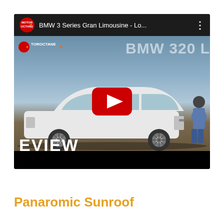[Figure (screenshot): YouTube video thumbnail/embed showing BMW 3 Series Gran Limousine review by MotorOctane. The video title bar at top reads 'BMW 3 Series Gran Limousine - Lo...' with a three-dots menu. The main scene shows a white BMW sedan side view outdoors with a person standing beside it. A large YouTube play button (red) is centered. Text 'BMW 320' visible top right, 'TOROCTANE' logo top left watermark, 'EVIEW' large text bottom left, black bar at bottom.]
Panaromic Sunroof